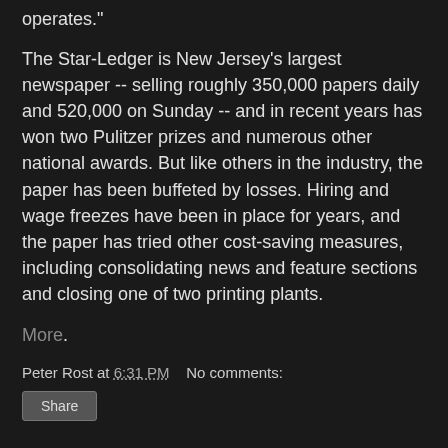operates."
The Star-Ledger is New Jersey's largest newspaper -- selling roughly 350,000 papers daily and 520,000 on Sunday -- and in recent years has won two Pulitzer prizes and numerous other national awards. But like others in the industry, the paper has been buffeted by losses. Hiring and wage freezes have been in place for years, and the paper has tried other cost-saving measures, including consolidating news and feature sections and closing one of two printing plants.
More.
Peter Rost at 6:31 PM   No comments:
Share
What's wrong with Obama?